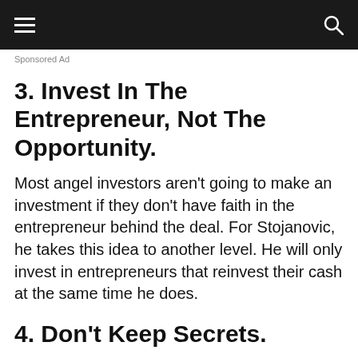Navigation bar with hamburger menu and search icon
Sponsored Ad
3. Invest In The Entrepreneur, Not The Opportunity.
Most angel investors aren’t going to make an investment if they don’t have faith in the entrepreneur behind the deal. For Stojanovic, he takes this idea to another level. He will only invest in entrepreneurs that reinvest their cash at the same time he does.
4. Don’t Keep Secrets.
Angel investing isn’t like trying to hide a secret